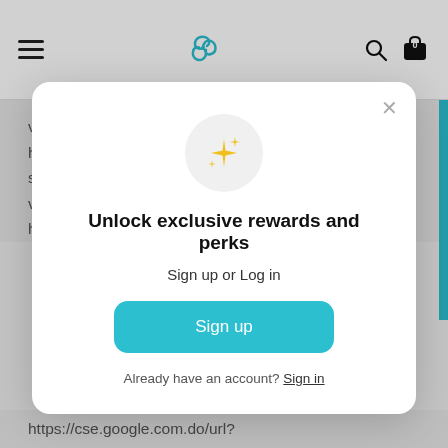Navigation header with menu icon, triskelion logo, search icon, and shopping bag icon
violation-or-communication-breakdown/
https://cse.google.com.gi/url?
sa=t&url=https://opviewer.com/morals-violation-or-communication-breakdown/
https://cse.google.com.fi/url?
[Figure (screenshot): Modal popup with sparkle icon, title 'Unlock exclusive rewards and perks', subtitle 'Sign up or Log in', a teal Sign up button, and footer 'Already have an account? Sign in']
https://cse.google.com.do/url?